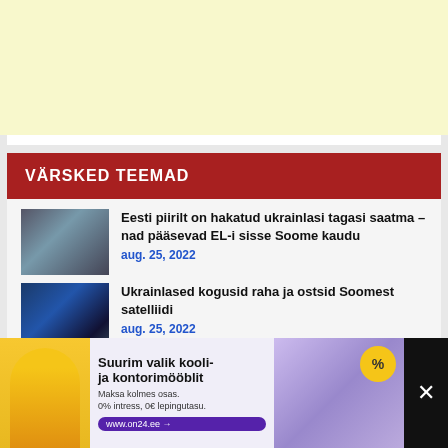[Figure (other): Top advertisement banner with light yellow background]
VÄRSKED TEEMAD
[Figure (photo): Thumbnail of soldiers or people in military gear at border]
Eesti piirilt on hakatud ukrainlasi tagasi saatma – nad pääsevad EL-i sisse Soome kaudu
aug. 25, 2022
[Figure (photo): Thumbnail of satellite or space-related image]
Ukrainlased kogusid raha ja ostsid Soomest satelliidi
aug. 25, 2022
[Figure (other): Bottom advertisement banner: school and office furniture sale, Suurim valik kooli- ja kontorimööblit]